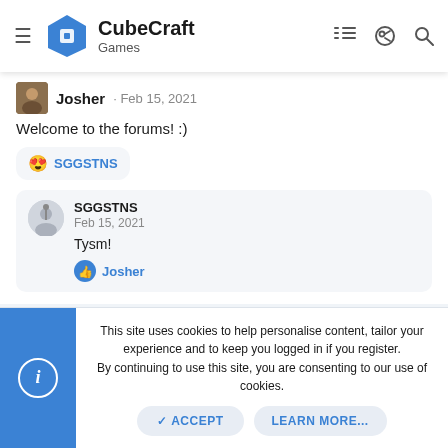CubeCraft Games
Josher · Feb 15, 2021
Welcome to the forums! :)
😍 SGGSTNS
SGGSTNS
Feb 15, 2021
Tysm!
👍 Josher
This site uses cookies to help personalise content, tailor your experience and to keep you logged in if you register.
By continuing to use this site, you are consenting to our use of cookies.